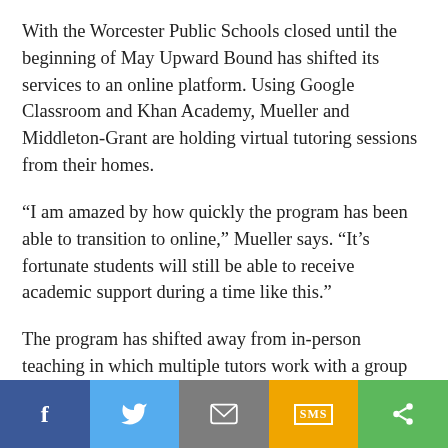With the Worcester Public Schools closed until the beginning of May Upward Bound has shifted its services to an online platform. Using Google Classroom and Khan Academy, Mueller and Middleton-Grant are holding virtual tutoring sessions from their homes.
“I am amazed by how quickly the program has been able to transition to online,” Mueller says. “It’s fortunate students will still be able to receive academic support during a time like this.”
The program has shifted away from in-person teaching in which multiple tutors work with a group of students each week. Now, each volunteer is assigned a group of students and hosts one-on-one check-in sessions on a video-conferencing platform to ensure the high school scholars are faring well. Both Mueller and Middleton-Grant provide
Facebook | Twitter | Email | SMS | Share